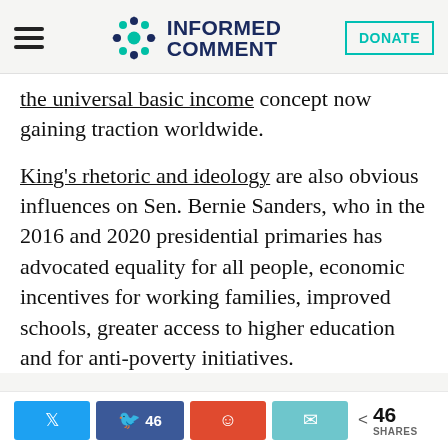Informed Comment — DONATE
the universal basic income concept now gaining traction worldwide.
King's rhetoric and ideology are also obvious influences on Sen. Bernie Sanders, who in the 2016 and 2020 presidential primaries has advocated equality for all people, economic incentives for working families, improved schools, greater access to higher education and for anti-poverty initiatives.
Share buttons: Twitter, Facebook 46, Reddit, Email | 46 SHARES